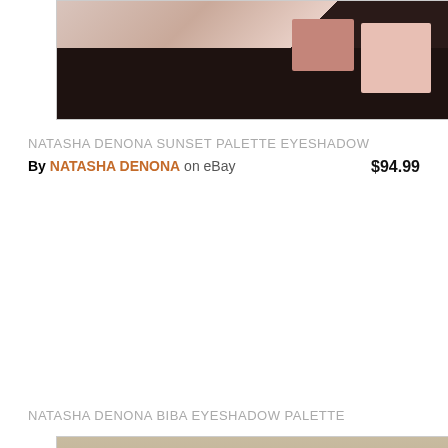[Figure (photo): Close-up photo of a dark eyeshadow palette with pink and mauve swatches visible against a black palette case]
NATASHA DENONA SUNSET PALETTE EYESHADOW
By NATASHA DENONA on eBay  $94.99
[Figure (photo): Photo of Natasha Denona 5-pan eyeshadow palette open, showing five shades: cream, terracotta, dark brown, medium brown, and gold shimmer. Brand name visible on palette.]
NATASHA DENONA BIBA EYESHADOW PALETTE